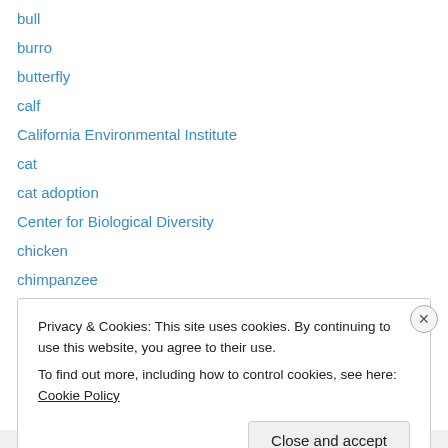bull
burro
butterfly
calf
California Environmental Institute
cat
cat adoption
Center for Biological Diversity
chicken
chimpanzee
chinchilla
Cleveland Amory Black Beauty Ranch
Compassion over Killing
Privacy & Cookies: This site uses cookies. By continuing to use this website, you agree to their use. To find out more, including how to control cookies, see here: Cookie Policy
Close and accept